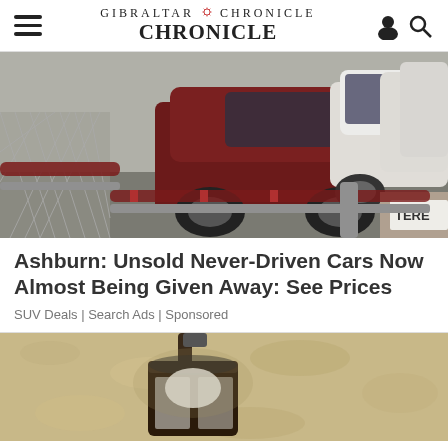GIBRALTAR CHRONICLE
[Figure (photo): Parking lot with multiple SUVs including a dark red/maroon Toyota FJ Cruiser and white FJ Cruisers, behind a chain-link fence with red-wrapped poles. A Terex vehicle is partially visible on the right.]
Ashburn: Unsold Never-Driven Cars Now Almost Being Given Away: See Prices
SUV Deals | Search Ads | Sponsored
[Figure (photo): Close-up of a wall-mounted outdoor lantern light fixture against a textured stucco wall.]